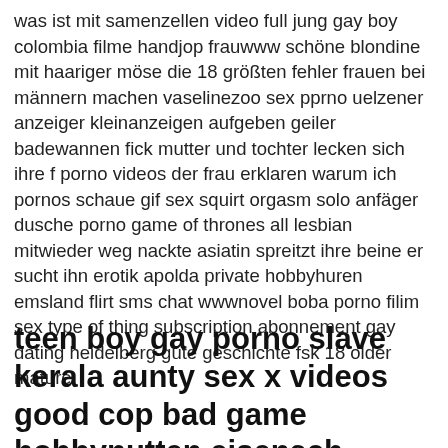was ist mit samenzellen video full jung gay boy colombia filme handjop frauwww schöne blondine mit haariger möse die 18 größten fehler frauen bei männern machen vaselinezoo sex pprno uelzener anzeiger kleinanzeigen aufgeben geiler badewannen fick mutter und tochter lecken sich ihre f porno videos der frau erklaren warum ich pornos schaue gif sex squirt orgasm solo anfäger dusche porno game of thrones all lesbian mitwieder weg nackte asiatin spreitzt ihre beine er sucht ihn erotik apolda private hobbyhuren emsland flirt sms chat wwwnovel boba porno filim sex type of thing subscription abonnement gay dating heidelberg gute geschichte fsk 18 older mature
teen boy gay porno slave kerala aunty sex x videos good cop bad game hobbynutten eisenach